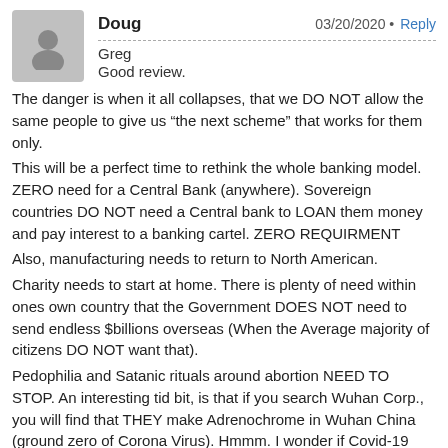Doug
03/20/2020 • Reply
Greg
Good review.
The danger is when it all collapses, that we DO NOT allow the same people to give us "the next scheme" that works for them only.
This will be a perfect time to rethink the whole banking model. ZERO need for a Central Bank (anywhere). Sovereign countries DO NOT need a Central bank to LOAN them money and pay interest to a banking cartel. ZERO REQUIRMENT
Also, manufacturing needs to return to North American.
Charity needs to start at home. There is plenty of need within ones own country that the Government DOES NOT need to send endless $billions overseas (When the Average majority of citizens DO NOT want that).
Pedophilia and Satanic rituals around abortion NEED TO STOP. An interesting tid bit, is that if you search Wuhan Corp., you will find that THEY make Adrenochrome in Wuhan China (ground zero of Corona Virus). Hmmm. I wonder if Covid-19 was implanted into the El-ites Adrenochrome? Seems a lot of VIP's and Stars and Athletes are catching the Virus. For those that